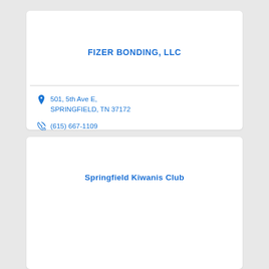FIZER BONDING, LLC
501, 5th Ave E, SPRINGFIELD, TN 37172
(615) 667-1109
Springfield Kiwanis Club